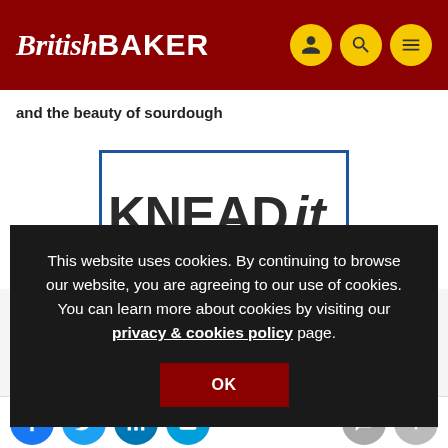BritishBAKER
and the beauty of sourdough
[Figure (logo): KNEAD it. book cover image with blue border, bold dark lettering on white background with small blue icon in bottom right]
This website uses cookies. By continuing to browse our website, you are agreeing to our use of cookies. You can learn more about cookies by visiting our privacy & cookies policy page.
[Figure (infographic): Social media share icons: Facebook, Twitter, LinkedIn, Email on the left; chat and plus icons on the right]